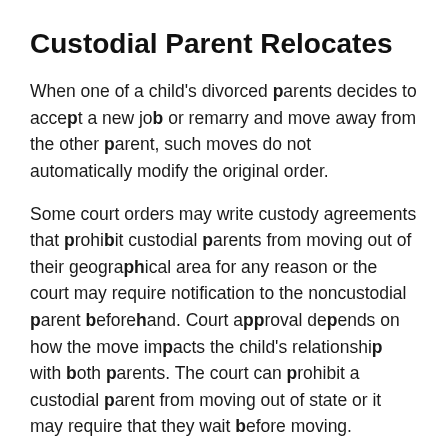Custodial Parent Relocates
When one of a child's divorced parents decides to accept a new job or remarry and move away from the other parent, such moves do not automatically modify the original order.
Some court orders may write custody agreements that prohibit custodial parents from moving out of their geographical area for any reason or the court may require notification to the noncustodial parent beforehand. Court approval depends on how the move impacts the child's relationship with both parents. The court can prohibit a custodial parent from moving out of state or it may require that they wait before moving.